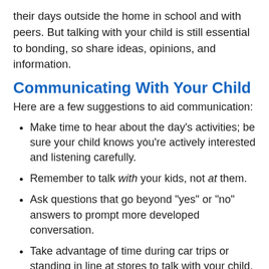their days outside the home in school and with peers. But talking with your child is still essential to bonding, so share ideas, opinions, and information.
Communicating With Your Child
Here are a few suggestions to aid communication:
Make time to hear about the day's activities; be sure your child knows you're actively interested and listening carefully.
Remember to talk with your kids, not at them.
Ask questions that go beyond "yes" or "no" answers to prompt more developed conversation.
Take advantage of time during car trips or standing in line at stores to talk with your child.